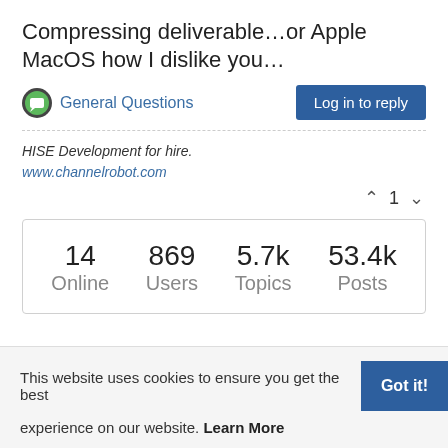Compressing deliverable…or Apple MacOS how I dislike you…
General Questions
Log in to reply
HISE Development for hire.
www.channelrobot.com
1
| Online | Users | Topics | Posts |
| --- | --- | --- | --- |
| 14 | 869 | 5.7k | 53.4k |
This website uses cookies to ensure you get the best experience on our website. Learn More